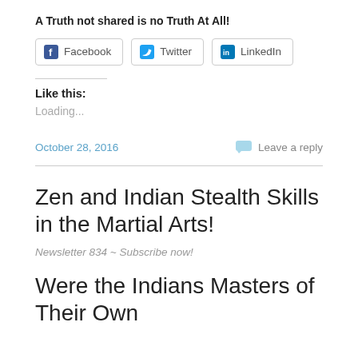A Truth not shared is no Truth At All!
[Figure (other): Social share buttons: Facebook, Twitter, LinkedIn]
Like this:
Loading...
October 28, 2016
Leave a reply
Zen and Indian Stealth Skills in the Martial Arts!
Newsletter 834 ~ Subscribe now!
Were the Indians Masters of Their Own Brand of Zen?